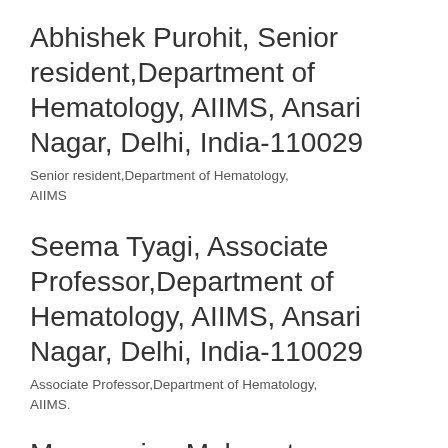Abhishek Purohit, Senior resident,Department of Hematology, AIIMS, Ansari Nagar, Delhi, India-110029
Senior resident,Department of Hematology, AIIMS
Seema Tyagi, Associate Professor,Department of Hematology, AIIMS, Ansari Nagar, Delhi, India-110029
Associate Professor,Department of Hematology, AIIMS.
Manoranjan Mahapatra, Professor,Department of Hematology, AIIMS, Ansari Nagar, Delhi, India-110029